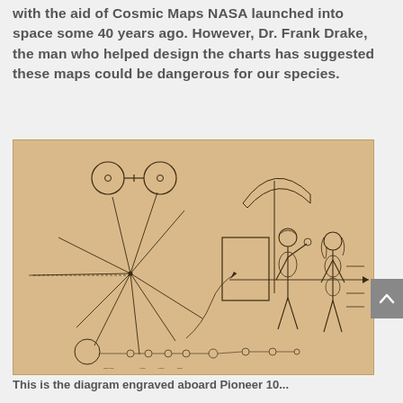with the aid of Cosmic Maps NASA launched into space some 40 years ago. However, Dr. Frank Drake, the man who helped design the charts has suggested these maps could be dangerous for our species.
[Figure (illustration): The Pioneer 10 plaque showing two human figures (a man with raised hand and a woman), a pulsar map with radiating lines from the Sun's position, a hydrogen atom diagram at top left, the Solar System diagram at the bottom, and a silhouette of the Pioneer spacecraft. The plaque is depicted on a tan/gold background with line art in dark brown/black.]
This is the diagram engraved aboard Pioneer 10...